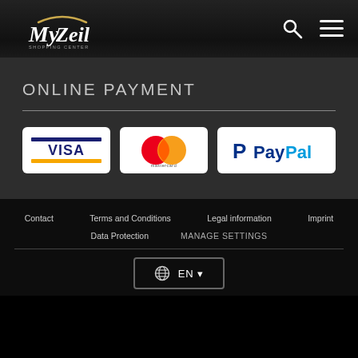[Figure (logo): MyZeil Shopping Center logo — italic white text 'My' with gold accent arc and 'Zeil' text, small 'SHOPPING CENTER' subtitle below]
ONLINE PAYMENT
[Figure (logo): VISA payment logo — blue text on white rounded rectangle card]
[Figure (logo): Mastercard payment logo — overlapping red and orange circles on white rounded rectangle card]
[Figure (logo): PayPal payment logo — blue P icon and PayPal text on white rounded rectangle card]
Contact   Terms and Conditions   Legal information   Imprint   Data Protection   MANAGE SETTINGS
EN